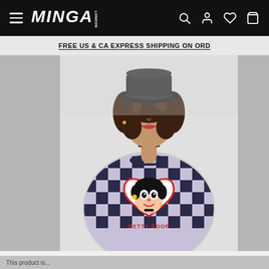MINGA — navigation header with hamburger menu, logo, search, account, wishlist, and cart icons
FREE US & CA EXPRESS SHIPPING ON ORD
[Figure (photo): A young woman wearing a black bucket hat and a navy/lavender checkerboard knit sweater featuring a Betty Boop cartoon character inside a red heart on the front, with 'BETTY BOOP' text below. She is posed against a light grey background, wearing a choker necklace.]
This product is...